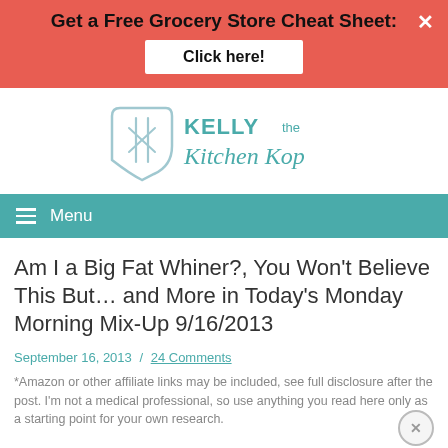Get a Free Grocery Store Cheat Sheet: Click here!
[Figure (logo): Kelly the Kitchen Kop logo with shield and crossed fork/spoon icon, teal text]
Menu
Am I a Big Fat Whiner?, You Won't Believe This But… and More in Today's Monday Morning Mix-Up 9/16/2013
September 16, 2013 / 24 Comments
*Amazon or other affiliate links may be included, see full disclosure after the post. I'm not a medical professional, so use anything you read here only as a starting point for your own research.